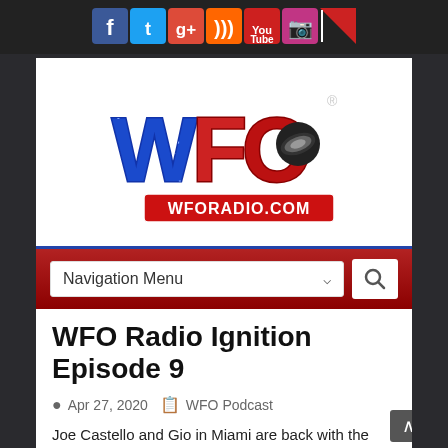[Figure (logo): Social media icons row: Facebook, Twitter, Google+, RSS, YouTube, Instagram, WFO]
[Figure (logo): WFO Radio logo with text WFORADIO.COM]
[Figure (screenshot): Navigation Menu dropdown with search button on red background]
WFO Radio Ignition Episode 9
Apr 27, 2020  WFO Podcast
Joe Castello and Gio in Miami are back with the news of the week, Matt Kenseth to drive